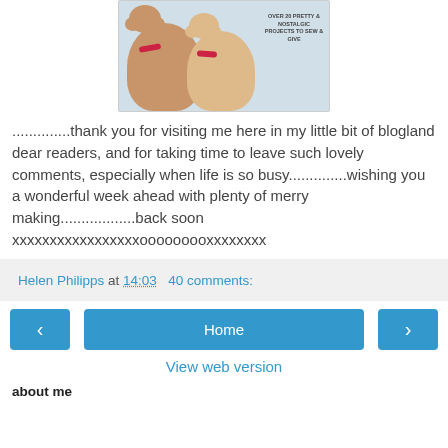[Figure (photo): Book cover showing two stuffed teddy bears with red ribbon bows, text reads 'OVER 20 PRETTY & NOSTALGIC PROJECTS TO SEW & GIVE']
..............thank you for visiting me here in my little bit of blogland dear readers, and for taking time to leave such lovely comments, especially when life is so busy..............wishing you a wonderful week ahead with plenty of merry making..................back soon xxxxxxxxxxxxxxxxxooooooooxxxxxxxx
Helen Philipps at 14:03   40 comments:
< Home > View web version
about me